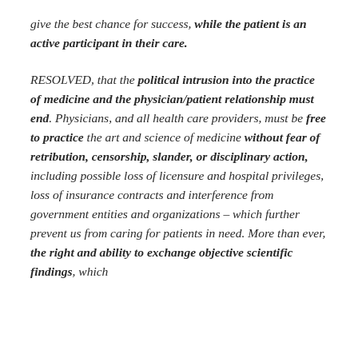give the best chance for success, while the patient is an active participant in their care.
RESOLVED, that the political intrusion into the practice of medicine and the physician/patient relationship must end. Physicians, and all health care providers, must be free to practice the art and science of medicine without fear of retribution, censorship, slander, or disciplinary action, including possible loss of licensure and hospital privileges, loss of insurance contracts and interference from government entities and organizations – which further prevent us from caring for patients in need. More than ever, the right and ability to exchange objective scientific findings, which